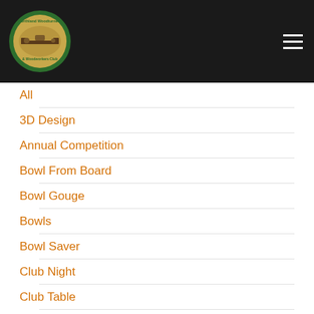[Figure (logo): Northland Woodturners & Woodworkers Club circular logo with woodturning lathe image on tan/gold background with green border]
All
3D Design
Annual Competition
Bowl From Board
Bowl Gouge
Bowls
Bowl Saver
Club Night
Club Table
Colouring
Cup Tool
Defect Recovery
Design Transfer